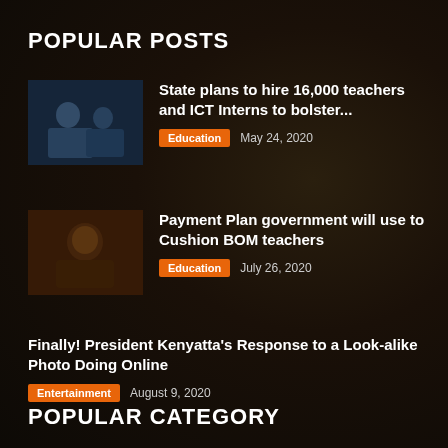POPULAR POSTS
State plans to hire 16,000 teachers and ICT Interns to bolster...
Education  May 24, 2020
Payment Plan government will use to Cushion BOM teachers
Education  July 26, 2020
Finally! President Kenyatta's Response to a Look-alike Photo Doing Online
Entertainment  August 9, 2020
POPULAR CATEGORY